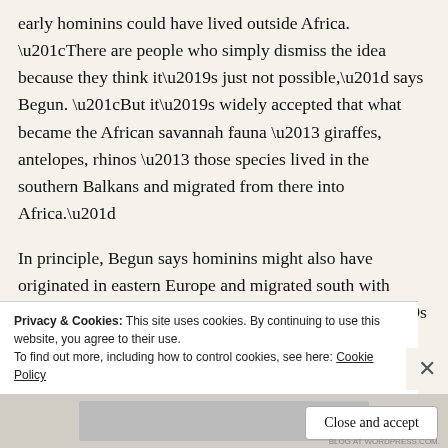early hominins could have lived outside Africa. “There are people who simply dismiss the idea because they think it’s just not possible,” says Begun. “But it’s widely accepted that what became the African savannah fauna – giraffes, antelopes, rhinos – those species lived in the southern Balkans and migrated from there into Africa.”
In principle, Begun says hominins might also have originated in eastern Europe and migrated south with these other species. “It doesn’t mean it’s true – but it’s certainly plausible,” he says.
Advertisements
Privacy & Cookies: This site uses cookies. By continuing to use this website, you agree to their use.
To find out more, including how to control cookies, see here: Cookie Policy